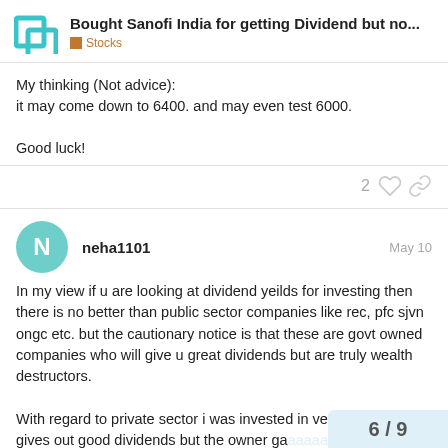Bought Sanofi India for getting Dividend but no... | Stocks
My thinking (Not advice):
it may come down to 6400. and may even test 6000.

Good luck!
neha1101  May 10
In my view if u are looking at dividend yeilds for investing then there is no better than public sector companies like rec, pfc sjvn ongc etc. but the cautionary notice is that these are govt owned companies who will give u great dividends but are truly wealth destructors.

With regard to private sector i was invested in vedanta who gives out good dividends but the owner ga too.
6 / 9